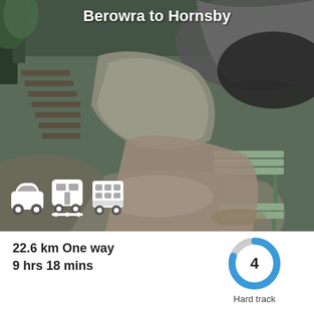[Figure (photo): Outdoor trail photo showing rocky sandstone boulders, wooden steps carved into hillside on the left, and a green park bench under a rock overhang on the right. Dense bush vegetation visible at top.]
Berowra to Hornsby
[Figure (infographic): Three white transport icons: car, train/bus, and bus on dark photo background]
22.6 km One way
9 hrs 18 mins
[Figure (donut-chart): Donut chart showing difficulty rating 4 out of 5, blue arc on grey background, number 4 in center]
Hard track